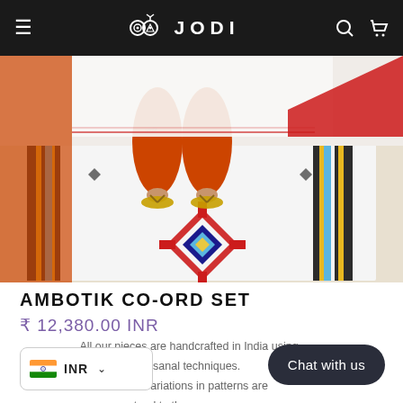JODI
[Figure (photo): Product photo showing a person wearing orange harem pants and sandals, standing on a white and colorful striped dhurrie rug with geometric patterns. White fabric draped in background with red accents.]
AMBOTIK CO-ORD SET
₹ 12,380.00 INR
All our pieces are handcrafted in India using artisanal techniques. Subtle variations in patterns are natural to these processes.